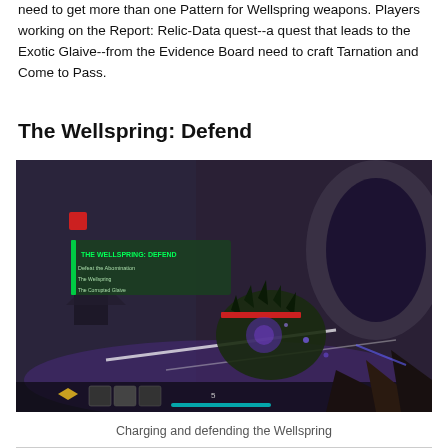need to get more than one Pattern for Wellspring weapons. Players working on the Report: Relic-Data quest--a quest that leads to the Exotic Glaive--from the Evidence Board need to craft Tarnation and Come to Pass.
The Wellspring: Defend
[Figure (screenshot): First-person shooter gameplay screenshot showing The Wellspring: Defend activity in Destiny 2. A player fights an enemy with a glaive weapon in a fantasy/sci-fi environment with purple lighting. HUD elements visible including activity name banner and weapon UI.]
Charging and defending the Wellspring